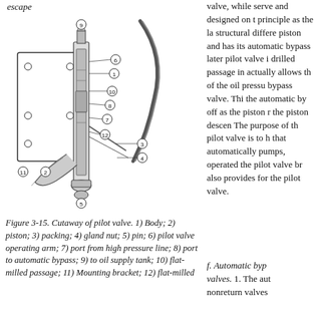escape
[Figure (engineering-diagram): Cutaway diagram of a pilot valve with numbered parts (1-12). Shows internal components including body, piston, packing, gland nut, pin, pilot valve operating arm, ports, passages, and mounting bracket. Parts are labeled with circled numbers connected by leader lines.]
Figure 3-15. Cutaway of pilot valve. 1) Body; 2) piston; 3) packing; 4) gland nut; 5) pin; 6) pilot valve operating arm; 7) port from high pressure line; 8) port to automatic bypass; 9) to oil supply tank; 10) flat-milled passage; 11) Mounting bracket; 12) flat-milled
valve, while serve and designed on principle as the la structural differe piston and has its automatic bypass later pilot valve i drilled passage in actually allows th of the oil pressu bypass valve. Thi the automatic by off as the piston r the piston descen The purpose of th pilot valve is to h that automatically pumps, operated the pilot valve br also provides for the pilot valve.
f. Automatic byp valves. 1. The aut nonreturn valves